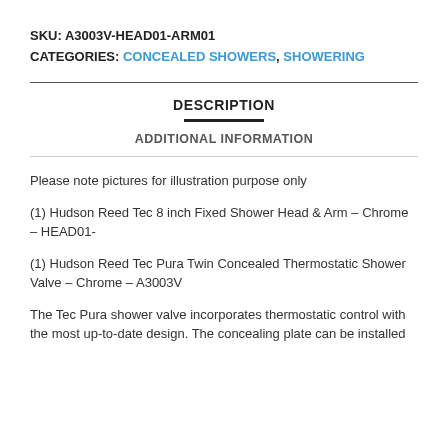SKU: A3003V-HEAD01-ARM01
CATEGORIES: CONCEALED SHOWERS, SHOWERING
DESCRIPTION
ADDITIONAL INFORMATION
Please note pictures for illustration purpose only
(1) Hudson Reed Tec 8 inch Fixed Shower Head & Arm – Chrome – HEAD01-
(1) Hudson Reed Tec Pura Twin Concealed Thermostatic Shower Valve – Chrome – A3003V
The Tec Pura shower valve incorporates thermostatic control with the most up-to-date design. The concealing plate can be installed